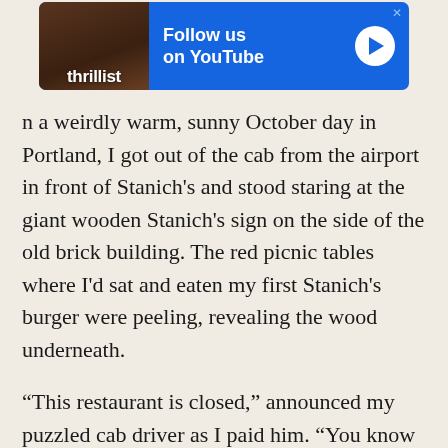[Figure (screenshot): Thrillist advertisement banner with blue background showing 'Follow us on YouTube' text and play button, with a photo of a person on the left side]
n a weirdly warm, sunny October day in Portland, I got out of the cab from the airport in front of Stanich's and stood staring at the giant wooden Stanich's sign on the side of the old brick building. The red picnic tables where I'd sat and eaten my first Stanich's burger were peeling, revealing the wood underneath.
“This restaurant is closed,” announced my puzzled cab driver as I paid him. “You know this?”
“I do, yes,” I said.
Taped to the door of the restaurant was a